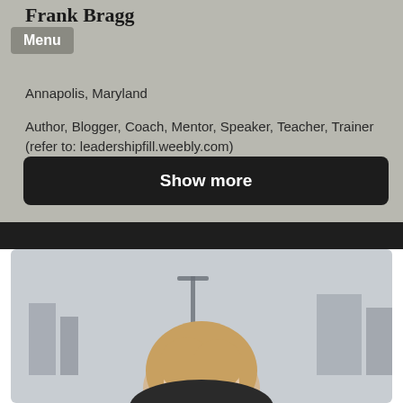Frank Bragg
Menu
Annapolis, Maryland
Author, Blogger, Coach, Mentor, Speaker, Teacher, Trainer (refer to: leadershipfill.weebly.com)
Writing and Editing
Show more
[Figure (photo): Portrait photo of a blonde woman wearing glasses, photographed outdoors with an urban background]